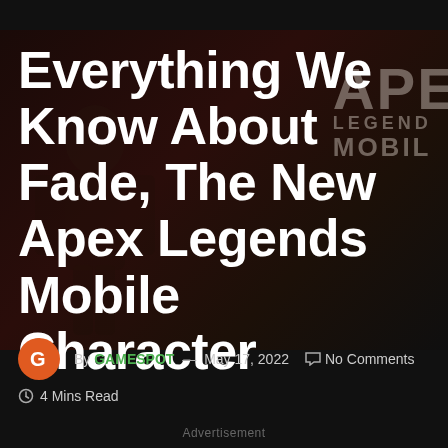[Figure (screenshot): Dark background screenshot from Apex Legends Mobile game featuring a character silhouette on the left and the Apex Legends Mobile logo text on the right]
Everything We Know About Fade, The New Apex Legends Mobile Character
By GAMESPOT — May 17, 2022  No Comments  4 Mins Read
Advertisement